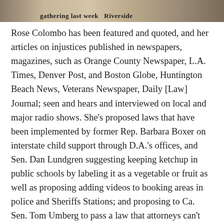[Figure (photo): Cropped newspaper clipping image showing partial text 'gathering last week' and 'Riverside' on a sepia/brown toned background]
Rose Colombo has been featured and quoted, and her articles on injustices published in newspapers, magazines, such as Orange County Newspaper, L.A. Times, Denver Post, and Boston Globe, Huntington Beach News, Veterans Newspaper, Daily [Law] Journal; seen and hears and interviewed on local and major radio shows. She’s proposed laws that have been implemented by former Rep. Barbara Boxer on interstate child support through D.A.’s offices, and Sen. Dan Lundgren suggesting keeping ketchup in public schools by labeling it as a vegetable or fruit as well as proposing adding videos to booking areas in police and Sheriffs Stations; and proposing to Ca. Sen. Tom Umberg to pass a law that attorneys can’t make themselves beneficiaries of their client’s wills. All these laws and more have been implemented.